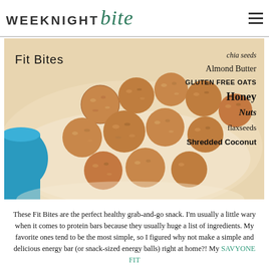WEEKNIGHT bite
[Figure (photo): Photo of oat energy balls (Fit Bites) on a plate with a blue cup, overlaid with ingredient text labels: chia seeds, Almond Butter, GLUTEN FREE OATS, Honey, Nuts, flaxseeds, Shredded Coconut. Title reads 'Fit Bites'.]
These Fit Bites are the perfect healthy grab-and-go snack. I'm usually a little wary when it comes to protein bars because they usually huge a list of ingredients. My favorite ones tend to be the most simple, so I figured why not make a simple and delicious energy bar (or snack-sized energy balls) right at home?! My beautiful and savvy fit friend Abby from SAVYONE FIT...